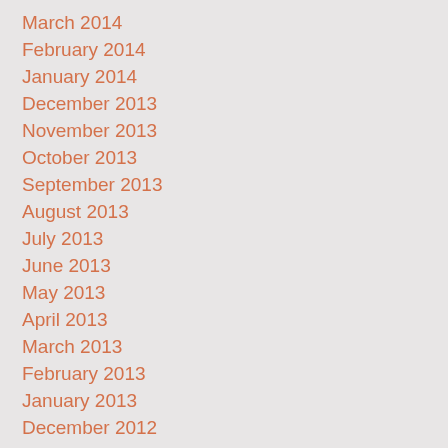March 2014
February 2014
January 2014
December 2013
November 2013
October 2013
September 2013
August 2013
July 2013
June 2013
May 2013
April 2013
March 2013
February 2013
January 2013
December 2012
November 2012
October 2012
September 2012